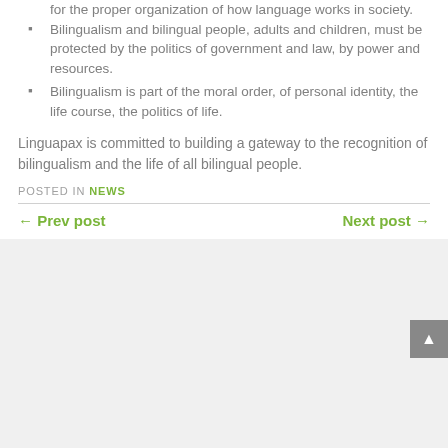for the proper organization of how language works in society.
Bilingualism and bilingual people, adults and children, must be protected by the politics of government and law, by power and resources.
Bilingualism is part of the moral order, of personal identity, the life course, the politics of life.
Linguapax is committed to building a gateway to the recognition of bilingualism and the life of all bilingual people.
POSTED IN NEWS
← Prev post    Next post →
PAGE: 1 2 3 4